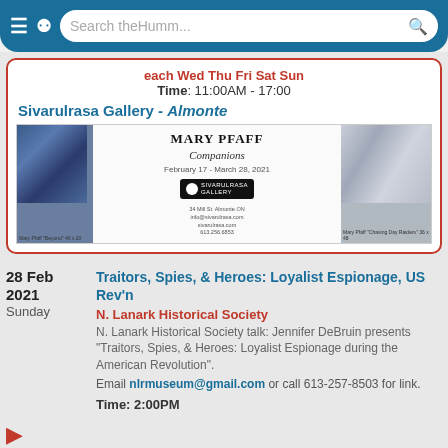[Figure (screenshot): Mobile browser top bar with menu icon, refresh icon, and search field showing 'Search theHumm...']
each Wed Thu Fri Sat Sun
Time: 11:00AM - 17:00
Sivarulrasa Gallery - Almonte
[Figure (photo): Gallery advertisement for Mary Pfaff 'Companions' exhibition, February 17 - March 28, 2021 at Sivarulrasa Gallery, with two painting images]
28 Feb 2021
Sunday
Traitors, Spies, & Heroes: Loyalist Espionage, US Rev'n
N. Lanark Historical Society
N. Lanark Historical Society talk: Jennifer DeBruin presents "Traitors, Spies, & Heroes: Loyalist Espionage during the American Revolution".
Email nlrmuseum@gmail.com or call 613-257-8503 for link.
Time: 2:00PM